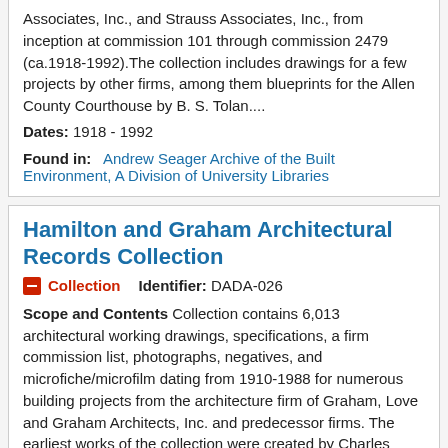Associates, Inc., and Strauss Associates, Inc., from inception at commission 101 through commission 2479 (ca.1918-1992).The collection includes drawings for a few projects by other firms, among them blueprints for the Allen County Courthouse by B. S. Tolan....
Dates: 1918 - 1992
Found in:    Andrew Seager Archive of the Built Environment, A Division of University Libraries
Hamilton and Graham Architectural Records Collection
Collection    Identifier: DADA-026
Scope and Contents Collection contains 6,013 architectural working drawings, specifications, a firm commission list, photographs, negatives, and microfiche/microfilm dating from 1910-1988 for numerous building projects from the architecture firm of Graham, Love and Graham Architects, Inc. and predecessor firms. The earliest works of the collection were created by Charles Hamilton as a draftsman for